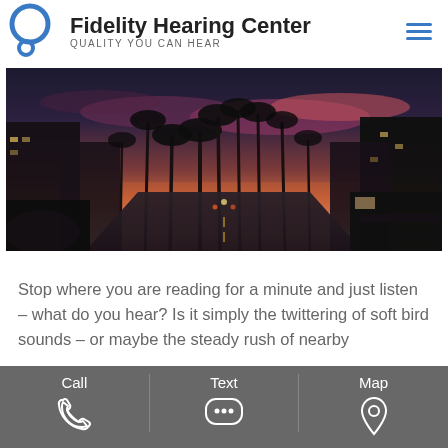Fidelity Hearing Center — QUALITY YOU CAN HEAR
[Figure (photo): Street-level dusk photograph of a palm-lined boulevard with colorful sky and city traffic]
Stop where you are reading for a minute and just listen – what do you hear? Is it simply the twittering of soft bird sounds – or maybe the steady rush of nearby
Call  Text  Map